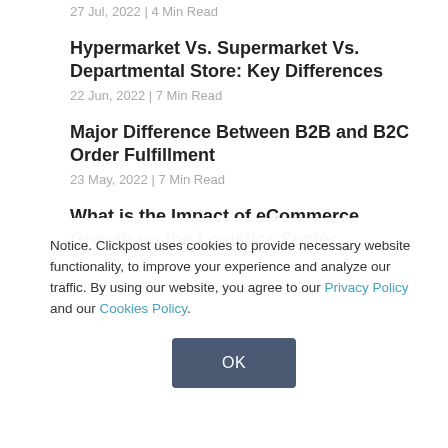27 Jul, 2022 | 4 Min Read
Hypermarket Vs. Supermarket Vs. Departmental Store: Key Differences
22 Jun, 2022 | 7 Min Read
Major Difference Between B2B and B2C Order Fulfillment
23 May, 2022 | 7 Min Read
What is the Impact of eCommerce Growth on the Logistics Sector
13 Jun, 2022 | 6 Min Read
Notice. Clickpost uses cookies to provide necessary website functionality, to improve your experience and analyze our traffic. By using our website, you agree to our Privacy Policy and our Cookies Policy.
OK